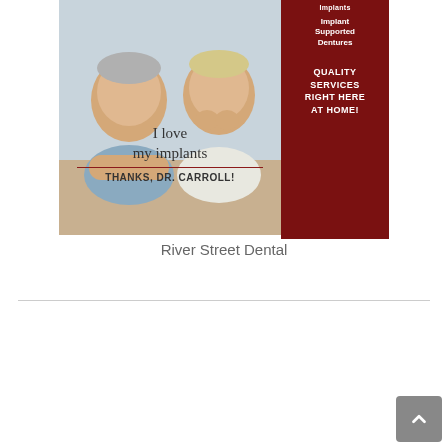[Figure (photo): Dental office advertisement for River Street Dental. Two smiling elderly people (man and woman) sitting together. Left portion shows photo with text overlay 'I love my implants' and 'THANKS, DR. CARROLL!' with dark red divider line. Right dark red sidebar lists 'Implant Supported Dentures' and 'QUALITY SERVICES RIGHT HERE AT HOME!']
River Street Dental
[Figure (photo): Bush & Gilles Furniture advertisement. Rustic wood plank background with a gray sofa and teal accent pillows. Top text shows 'Spooner 715-635-9646' and 'Rice Lake 715-434-4552'. Center shows 'Bush & Gilles' in blue italic script font and 'FURNITURE' in bold red letters.]